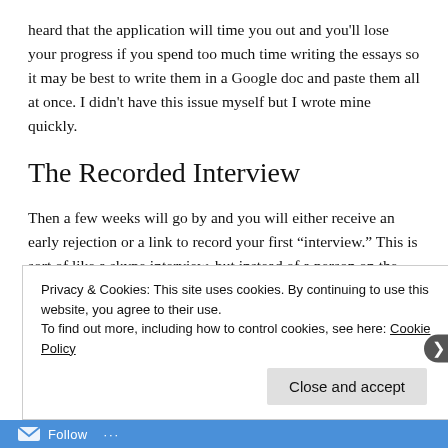heard that the application will time you out and you'll lose your progress if you spend too much time writing the essays so it may be best to write them in a Google doc and paste them all at once. I didn't have this issue myself but I wrote mine quickly.
The Recorded Interview
Then a few weeks will go by and you will either receive an early rejection or a link to record your first “interview.” This is sort of like a skype interview, but instead of a person on the other end, you are simply given text prompts and have to answer in a recorded video.
Privacy & Cookies: This site uses cookies. By continuing to use this website, you agree to their use.
To find out more, including how to control cookies, see here: Cookie Policy